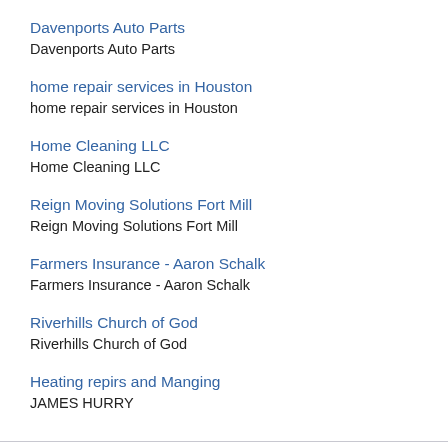Davenports Auto Parts
Davenports Auto Parts
home repair services in Houston
home repair services in Houston
Home Cleaning LLC
Home Cleaning LLC
Reign Moving Solutions Fort Mill
Reign Moving Solutions Fort Mill
Farmers Insurance - Aaron Schalk
Farmers Insurance - Aaron Schalk
Riverhills Church of God
Riverhills Church of God
Heating repirs and Manging
JAMES HURRY
REQUESTED REVIEWS
Alpine Garage Door Repair Interwood Co.
Raby Castle
Bake Buys Houses